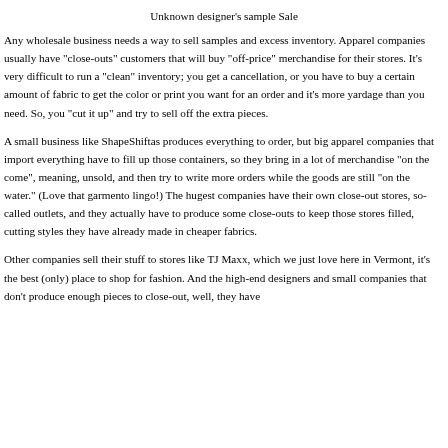buyers' "Christmas presents."
Unknown designer's sample Sale
Any wholesale business needs a way to sell samples and excess inventory. Apparel companies usually have "close-outs" customers that will buy "off-price" merchandise for their stores. It's very difficult to run a "clean" inventory; you get a cancellation, or you have to buy a certain amount of fabric to get the color or print you want for an order and it's more yardage than you need. So, you "cut it up" and try to sell off the extra pieces.
A small business like ShapeShiftas produces everything to order, but big apparel companies that import everything have to fill up those containers, so they bring in a lot of merchandise "on the come", meaning, unsold, and then try to write more orders while the goods are still "on the water." (Love that garmento lingo!) The hugest companies have their own close-out stores, so-called outlets, and they actually have to produce some close-outs to keep those stores filled, cutting styles they have already made in cheaper fabrics.
Other companies sell their stuff to stores like TJ Maxx, which we just love here in Vermont, it's the best (only) place to shop for fashion. And the high-end designers and small companies that don't produce enough pieces to close-out, well, they have